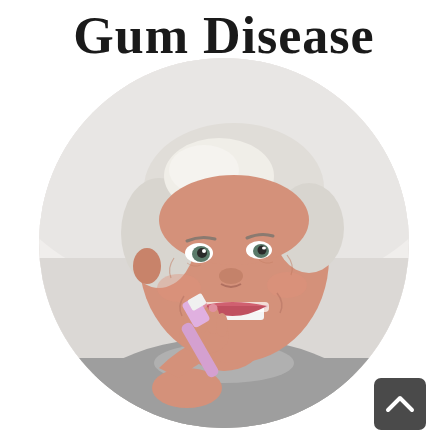Gum Disease
[Figure (photo): Elderly woman with short white/grey hair brushing her teeth with a pink toothbrush, wearing a grey t-shirt, smiling, shown in a circular cropped photo]
[Figure (other): Scroll-to-top button with upward chevron arrow on dark grey rounded rectangle background]